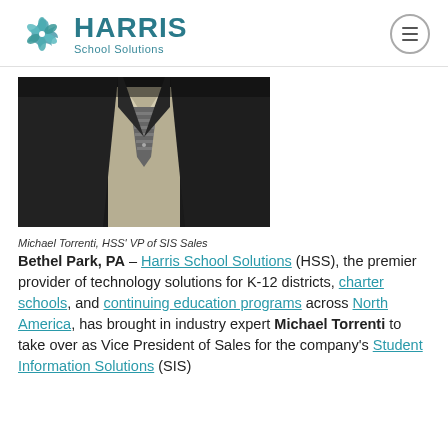HARRIS School Solutions
[Figure (photo): Photo of Michael Torrenti, a man in a dark suit and patterned tie, cropped at chest level]
Michael Torrenti, HSS' VP of SIS Sales
Bethel Park, PA – Harris School Solutions (HSS), the premier provider of technology solutions for K-12 districts, charter schools, and continuing education programs across North America, has brought in industry expert Michael Torrenti to take over as Vice President of Sales for the company's Student Information Solutions (SIS)